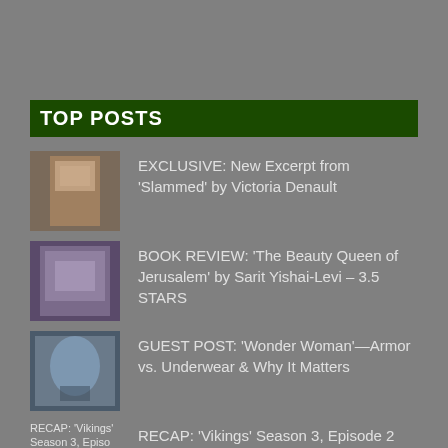TOP POSTS
EXCLUSIVE: New Excerpt from 'Slammed' by Victoria Denault
BOOK REVIEW: 'The Beauty Queen of Jerusalem' by Sarit Yishai-Levi – 3.5 STARS
GUEST POST: 'Wonder Woman'—Armor vs. Underwear & Why It Matters
RECAP: 'Vikings' Season 3, Episode 2 'The Wanderer' & Preview Episode 3 'Warrior's Fate'